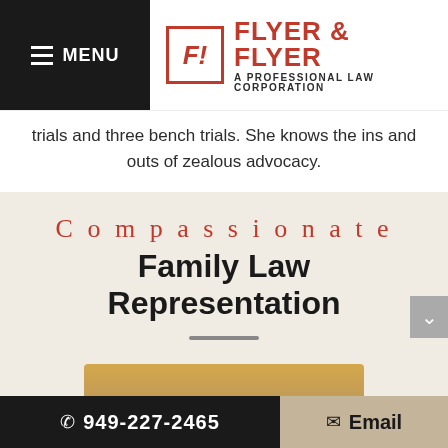MENU | FLYER & FLYER A PROFESSIONAL LAW CORPORATION
Attorney Raquel Flyer Danner has conducted fifty jury trials and three bench trials. She knows the ins and outs of zealous advocacy.
Compassionate Family Law Representation
[Figure (photo): Photo of people, partially visible, with beige/tan background]
949-227-2465  Email